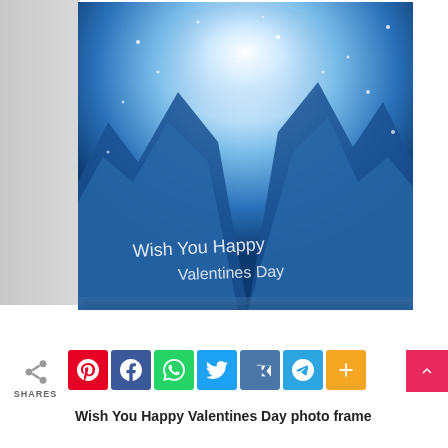[Figure (illustration): A winter/Valentine's Day photo frame template showing a snowy mountain landscape with bright glowing light in the center, blue icy mountains on the sides, snow falling, and a cursive white text overlay at the bottom. Gray textured border on the left and bottom edges.]
SHARES
[Figure (infographic): Row of social media share buttons: Pinterest (red), Facebook (blue), WhatsApp (green), Twitter (light blue), VK (steel blue), Telegram (sky blue), More/Plus (orange). Share icon with SHARES label on the left. Pink scroll-to-top button on the far right.]
Wish You Happy Valentines Day photo frame